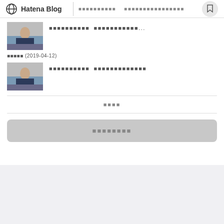Hatena Blog  ■■■■■■■■■■  ■■■■■■■■■■■■■■■■
[Figure (photo): Thumbnail photo of a man in suit at a podium, article excerpt with Japanese placeholder text]
■■■■■ (2019-04-12)
[Figure (photo): Thumbnail photo of a man in suit at a podium, article excerpt with Japanese placeholder text]
■■■■
■■■■■■■■